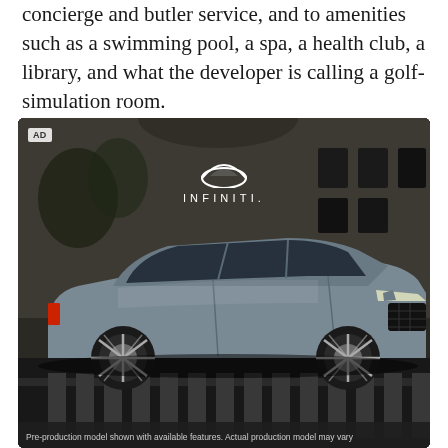concierge and butler service, and to amenities such as a swimming pool, a spa, a health club, a library, and what the developer is calling a golf-simulation room.
[Figure (photo): Infiniti branded advertisement showing a silver/grey Infiniti QX60 SUV driving on a city street in front of a large beige stone building. The Infiniti logo (double-arc symbol) and wordmark 'INFINITI.' are displayed in white at the top center of the image. An 'AD' badge appears in the top left corner. A caption bar at the bottom reads 'Pre-production model shown with available features. Actual production model may vary']